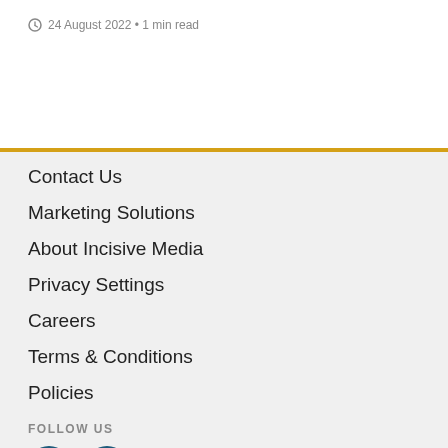24 August 2022 • 1 min read
Contact Us
Marketing Solutions
About Incisive Media
Privacy Settings
Careers
Terms & Conditions
Policies
FOLLOW US
[Figure (other): Two circular dark teal social media icon buttons (partially visible at bottom of page)]